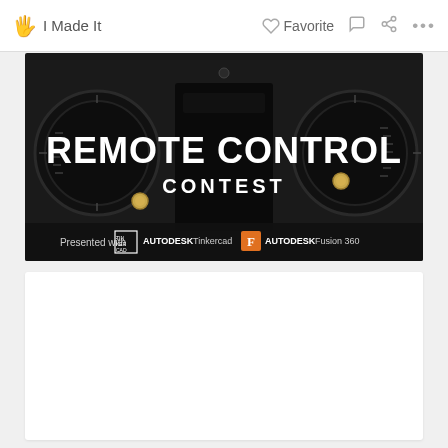I Made It   Favorite   ...
[Figure (photo): Remote Control Contest banner image — dark background showing RC transmitter hardware with two circular dials/gimbals. Text overlay reads 'REMOTE CONTROL CONTEST'. Bottom text reads 'Presented with' followed by Tinkercad logo (AUTODESK Tinkercad) and Fusion 360 logo (F AUTODESK Fusion 360).]